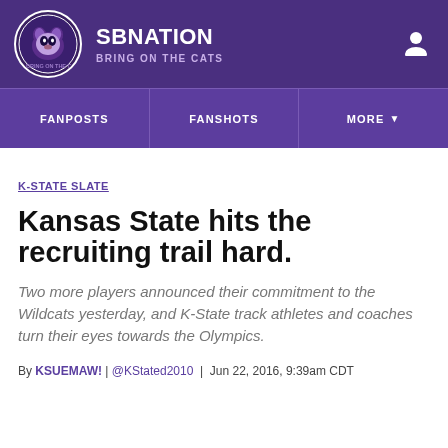SB NATION | BRING ON THE CATS
K-STATE SLATE
Kansas State hits the recruiting trail hard.
Two more players announced their commitment to the Wildcats yesterday, and K-State track athletes and coaches turn their eyes towards the Olympics.
By KSUEMAW! | @KStated2010 | Jun 22, 2016, 9:39am CDT